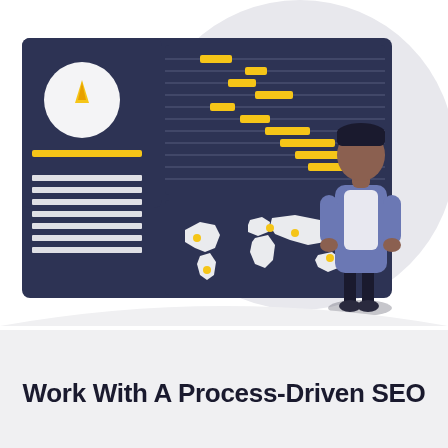[Figure (illustration): Flat-design illustration showing a person standing next to a large analytics dashboard screen. The dashboard has a dark navy background with a logo (flame/leaf icon in a circle), horizontal bar chart with yellow bars, a world map section with yellow location markers, and white horizontal lines. A large light grey circle forms the background behind the person. The person is depicted in a casual pose with hands on hips, wearing a grey jacket, white shirt, and dark trousers.]
Work With A Process-Driven SEO